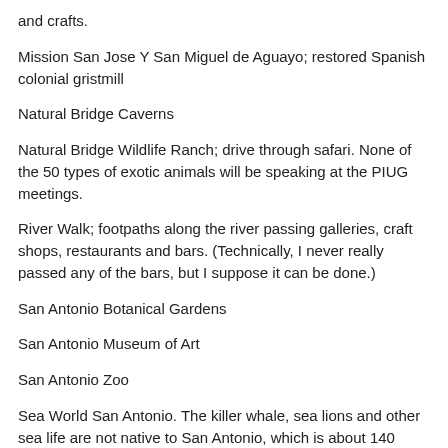and crafts.
Mission San Jose Y San Miguel de Aguayo; restored Spanish colonial gristmill
Natural Bridge Caverns
Natural Bridge Wildlife Ranch; drive through safari. None of the 50 types of exotic animals will be speaking at the PIUG meetings.
River Walk; footpaths along the river passing galleries, craft shops, restaurants and bars. (Technically, I never really passed any of the bars, but I suppose it can be done.)
San Antonio Botanical Gardens
San Antonio Museum of Art
San Antonio Zoo
Sea World San Antonio. The killer whale, sea lions and other sea life are not native to San Antonio, which is about 140 miles from the nearest salt water.
Witte Museum; Interactive exhibits on Texas history, natural science